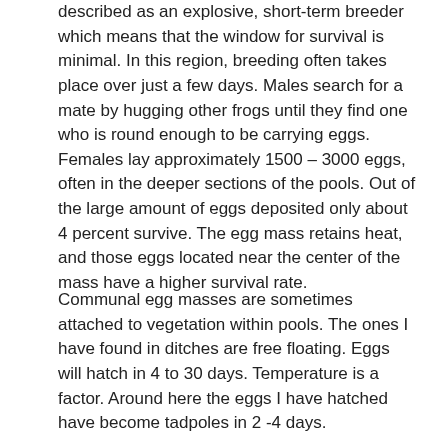described as an explosive, short-term breeder which means that the window for survival is minimal. In this region, breeding often takes place over just a few days. Males search for a mate by hugging other frogs until they find one who is round enough to be carrying eggs. Females lay approximately 1500 – 3000 eggs, often in the deeper sections of the pools. Out of the large amount of eggs deposited only about 4 percent survive. The egg mass retains heat, and those eggs located near the center of the mass have a higher survival rate.
Communal egg masses are sometimes attached to vegetation within pools. The ones I have found in ditches are free floating. Eggs will hatch in 4 to 30 days. Temperature is a factor. Around here the eggs I have hatched have become tadpoles in 2 -4 days.